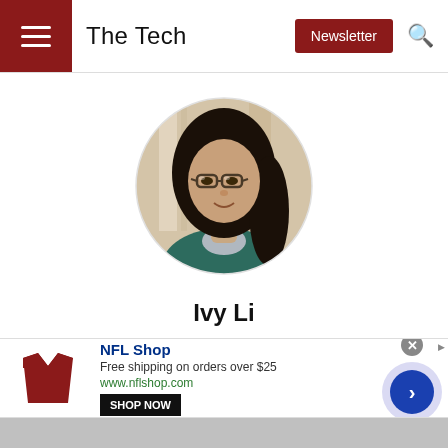The Tech | Newsletter | Search
[Figure (photo): Oval portrait photo of Ivy Li, a young woman with long dark hair and glasses, wearing a teal sweater over a collared shirt, photographed indoors with a light background.]
Ivy Li
V139 Arts Editor
lii@mit.edu
[Figure (infographic): Advertisement banner for NFL Shop: 'Free shipping on orders over $25' with SHOP NOW button and www.nflshop.com URL, with a close button and navigation arrow.]